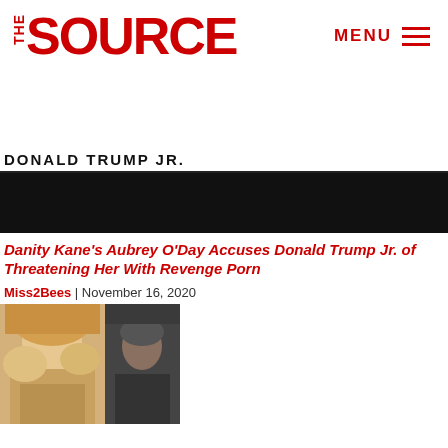THE SOURCE | MENU
DONALD TRUMP JR.
[Figure (photo): Black banner image under the Donald Trump Jr. tag]
Danity Kane's Aubrey O'Day Accuses Donald Trump Jr. of Threatening Her With Revenge Porn
Miss2Bees | November 16, 2020
[Figure (photo): Photo of a blonde woman (Aubrey O'Day) on the left and a dark-haired man (Donald Trump Jr.) on the right]